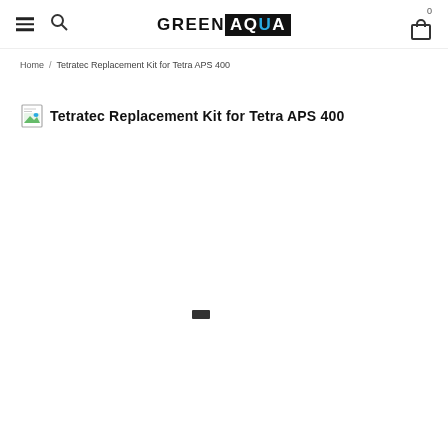GREEN AQUA — navigation header with hamburger menu, search icon, logo, and cart (0)
Home / Tetratec Replacement Kit for Tetra APS 400
Tetratec Replacement Kit for Tetra APS 400
[Figure (other): Broken image placeholder icon (small document icon with green/blue colors) for product image]